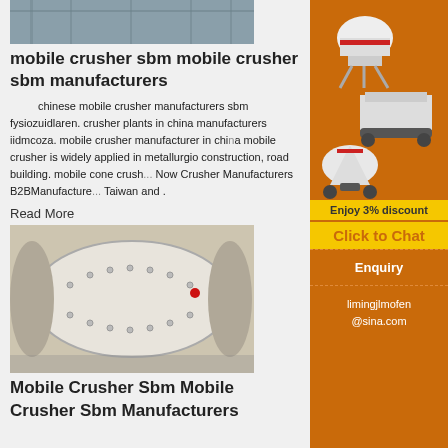[Figure (photo): Top photo of industrial structure or facility interior]
mobile crusher sbm mobile crusher sbm manufacturers
chinese mobile crusher manufacturers sbm fysiozuidlaren. crusher plants in china manufacturers iidmcoza. mobile crusher manufacturer in china mobile crusher is widely applied in metallurgic construction, road building. mobile cone crush... Now Crusher Manufacturers B2BManufacture... Taiwan and .
Read More
[Figure (photo): Photo of a large white industrial ball mill machine]
[Figure (illustration): Sidebar advertisement showing crusher machinery illustrations with orange background]
Mobile Crusher Sbm Mobile Crusher Sbm Manufacturers